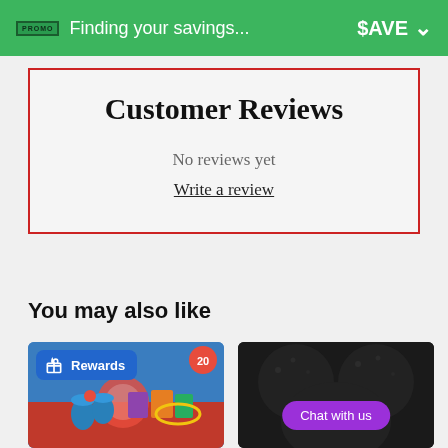Finding your savings... $AVE
Customer Reviews
No reviews yet
Write a review
You may also like
[Figure (photo): Magic toy set product card with blue Rewards badge showing gift icon]
[Figure (photo): Black mouse ears product card with purple Chat with us button]